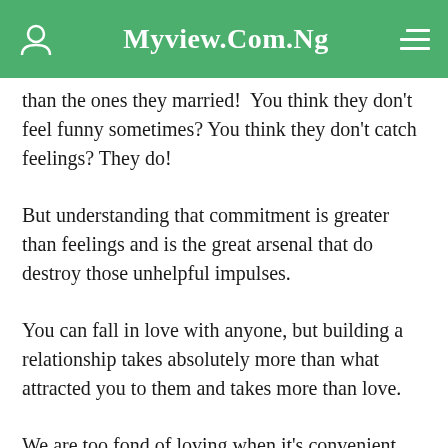Myview.Com.Ng
than the ones they married!  You think they don't feel funny sometimes? You think they don't catch feelings? They do!
But understanding that commitment is greater than feelings and is the great arsenal that do destroy those unhelpful impulses.
You can fall in love with anyone, but building a relationship takes absolutely more than what attracted you to them and takes more than love.
We are too fond of loving when it's convenient and sweet. We are too fond of loving when love is there; but the...